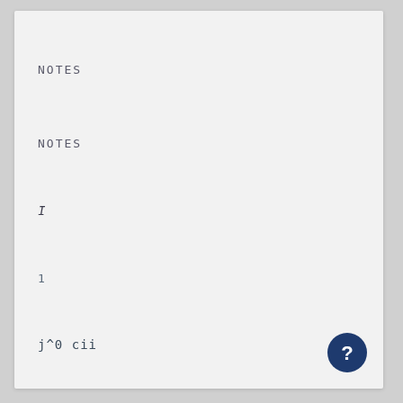NOTES
NOTES
I
1
j^0 cii
[Figure (other): Help/info button icon — dark navy circle with white question mark]